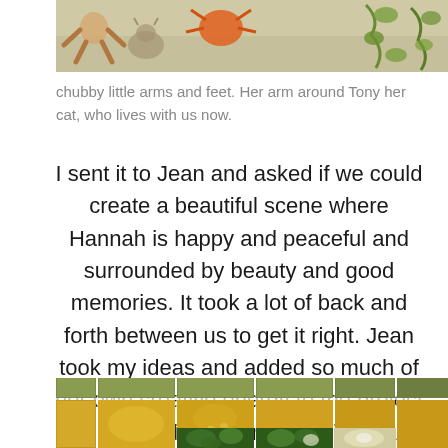[Figure (illustration): Top portion of a child's drawing or painting showing figures with chubby arms, an orange object, and green vine/plant elements on a beige/tan background]
chubby little arms and feet. Her arm around Tony her cat, who lives with us now.
I sent it to Jean and asked if we could create a beautiful scene where Hannah is happy and peaceful and surrounded by beauty and good memories. It took a lot of back and forth between us to get it right. Jean took my ideas and added so much of her own creative energy to the project and it turned out more beautiful than I could ever imagine.
[Figure (photo): Bottom portion showing decorative tiles with a grid pattern. Top row shows olive green tiles, middle rows show golden yellow/amber tiles with a pale design (possibly clouds or a figure), bottom rows show tiles with green plant/floral designs and white flower motifs.]